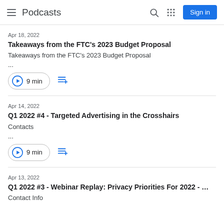Podcasts
Apr 18, 2022
Takeaways from the FTC’s 2023 Budget Proposal
Takeaways from the FTC’s 2023 Budget Proposal
...
9 min
Apr 14, 2022
Q1 2022 #4 - Targeted Advertising in the Crosshairs
Contacts
...
9 min
Apr 13, 2022
Q1 2022 #3 - Webinar Replay: Privacy Priorities For 2022 - …
Contact Info